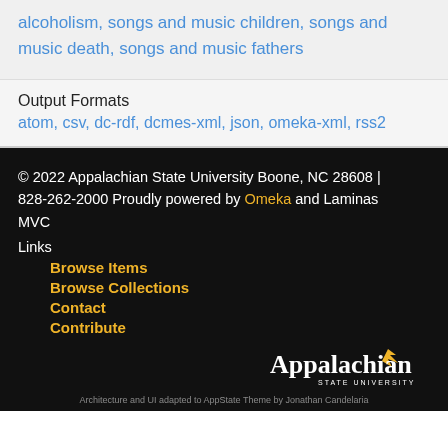alcoholism, songs and music children, songs and music death, songs and music fathers
Output Formats
atom, csv, dc-rdf, dcmes-xml, json, omeka-xml, rss2
© 2022 Appalachian State University Boone, NC 28608 | 828-262-2000 Proudly powered by Omeka and Laminas MVC
Links
Browse Items
Browse Collections
Contact
Contribute
[Figure (logo): Appalachian State University logo/wordmark in white with yellow bird symbol]
Architecture and UI adapted to AppState Theme by Jonathan Candelaria